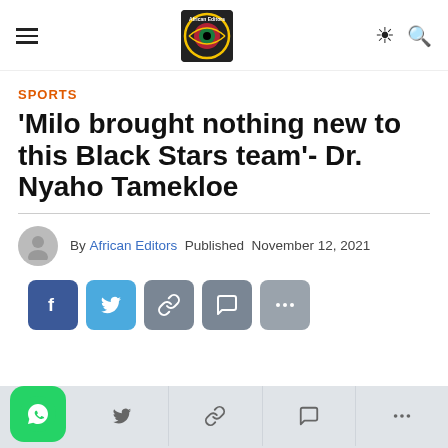African Editors — navigation bar with hamburger menu, logo, moon icon, search icon
SPORTS
'Milo brought nothing new to this Black Stars team'- Dr. Nyaho Tamekloe
By African Editors Published November 12, 2021
[Figure (infographic): Social share buttons: Facebook, Twitter, Link, Message, More]
[Figure (infographic): Bottom bar with WhatsApp button and share icons for Twitter, Link, Message, More]